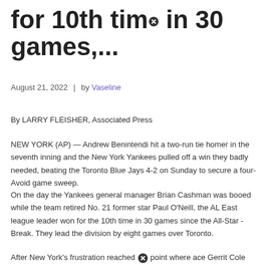for 10th time in 30 games,...
August 21, 2022  |  by Vaseline
By LARRY FLEISHER, Associated Press
NEW YORK (AP) — Andrew Benintendi hit a two-run tie homer in the seventh inning and the New York Yankees pulled off a win they badly needed, beating the Toronto Blue Jays 4-2 on Sunday to secure a four- Avoid game sweep.
On the day the Yankees general manager Brian Cashman was booed while the team retired No. 21 former star Paul O'Neill, the AL East league leader won for the 10th time in 30 games since the All-Star -Break. They lead the division by eight games over Toronto.
After New York's frustration reached [icon] point where ace Gerrit Cole